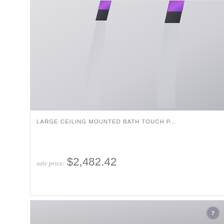[Figure (photo): Product photo showing two streams of water flowing downward from ceiling-mounted faucet fixtures with purple/violet colored tops, against a light gray background.]
LARGE CEILING MOUNTED BATH TOUCH P...
sale price: $2,482.42
[Figure (photo): Partially visible product image at the bottom of the page showing a gray background, likely another bath fixture product.]